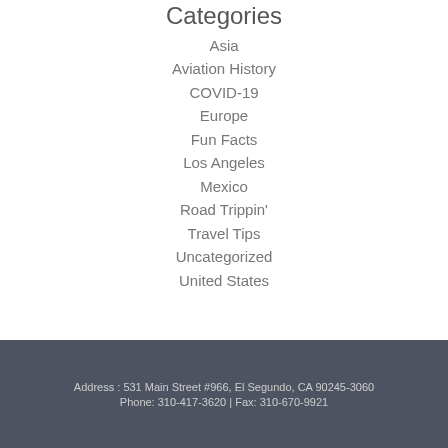Categories
Asia
Aviation History
COVID-19
Europe
Fun Facts
Los Angeles
Mexico
Road Trippin'
Travel Tips
Uncategorized
United States
Address : 531 Main Street #966, El Segundo, CA 90245-3060
Phone: 310-417-3620 | Fax: 310-670-9921